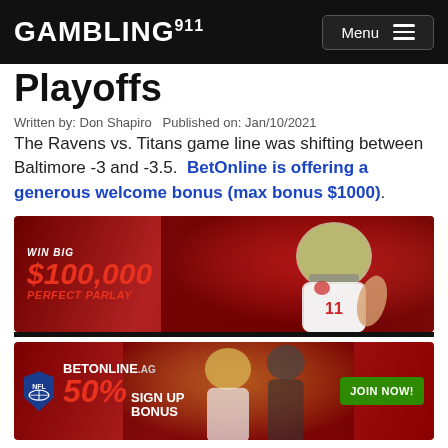GAMBLING 911 | Menu
Playoffs
Written by: Don Shapiro  Published on: Jan/10/2021
The Ravens vs. Titans game line was shifting between Baltimore -3 and -3.5.  BetOnline is offering a generous welcome bonus (max bonus $1000).
[Figure (photo): Sports betting advertisement banner: WIN BIG $100,000 PERFECT PARLAY, red background with NFL player in white uniform]
[Figure (photo): BetOnline.ag advertisement: NFL logo, 50% SIGN UP BONUS, JOIN NOW button in green, football players in background]
The Ravens...